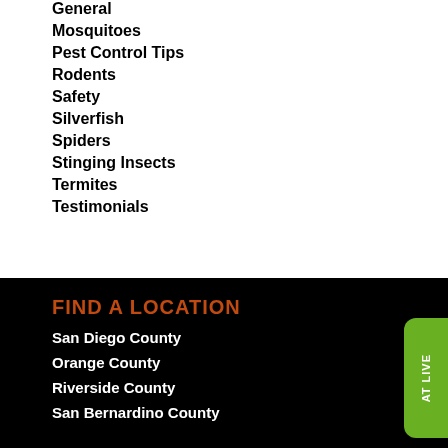General
Mosquitoes
Pest Control Tips
Rodents
Safety
Silverfish
Spiders
Stinging Insects
Termites
Testimonials
FIND A LOCATION
San Diego County
Orange County
Riverside County
San Bernardino County